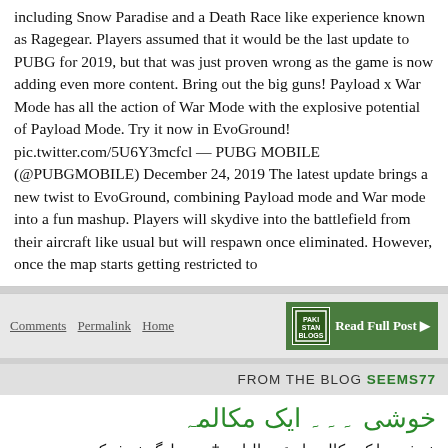including Snow Paradise and a Death Race like experience known as Ragegear. Players assumed that it would be the last update to PUBG for 2019, but that was just proven wrong as the game is now adding even more content. Bring out the big guns! Payload x War Mode has all the action of War Mode with the explosive potential of Payload Mode. Try it now in EvoGround! pic.twitter.com/5U6Y3mcfcl — PUBG MOBILE (@PUBGMOBILE) December 24, 2019 The latest update brings a new twist to EvoGround, combining Payload mode and War mode into a fun mashup. Players will skydive into the battlefield from their aircraft like usual but will respawn once eliminated. However, once the map starts getting restricted to
Comments  Permalink  Home  Read Full Post
FROM THE BLOG SEEMS77
خوشی ۔۔۔ ایک مکالمہ
خوشی - ایک مکالمہ از عمر الیاس ‡ سب لوگ خوش کیوں نہیں رہتے؟ ‡ کیونکہ خوشی کا تعلق نصیب سے ہے اور نصیب کا چوائس سے ہمارے حالات ، ہماری چوائسز اور اعمال کا نتیجہ ہیں ہماری چوائسز اور اعمال ، ہماری نیّت کا‡ پر خوشی بھی تو ایک چوائس